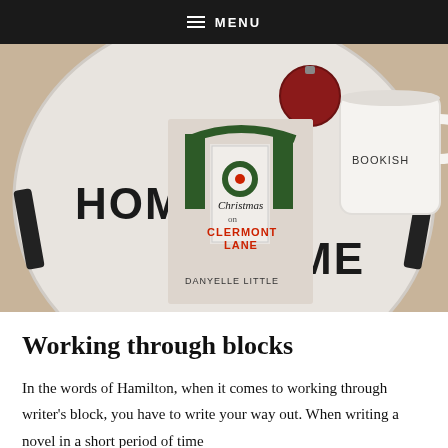MENU
[Figure (photo): A photo of the book 'Christmas on Clermont Lane' by Danyelle Little, placed on a round white tray with HOME text, next to a white mug reading BOOKISH and a red ornament in the background.]
Working through blocks
In the words of Hamilton, when it comes to working through writer's block, you have to write your way out. When writing a novel in a short period of time